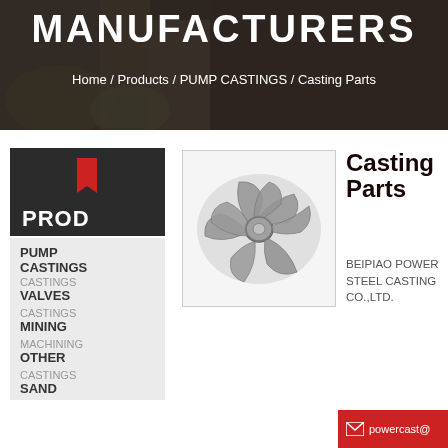MANUFACTURERS
Home / Products / PUMP CASTINGS / Casting Parts
[Figure (logo): Dark square logo block with red bookmark ribbon icon and PROD text label]
PUMP
CASTINGS
CASTINGS
VALVES
CASTINGS
MINING
MACHINING
OTHER
CASTINGS
SAND
[Figure (photo): Gray metal pump impeller casting with multiple curved vanes, viewed from above]
Casting Parts
BEIPIAO POWER STEEL CASTING CO.,LTD.
powercast@...